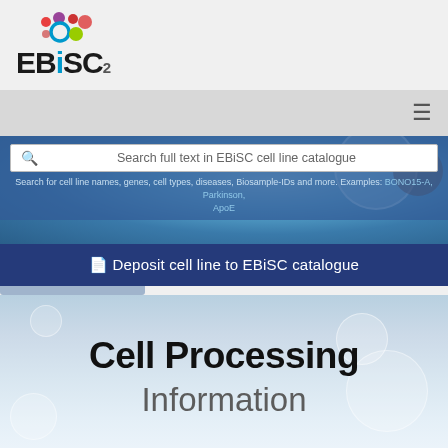[Figure (logo): EBiSC2 logo with colored dots above the text]
[Figure (screenshot): Navigation bar with hamburger menu icon on gray background]
[Figure (screenshot): Search bar overlay on cell biology hero image: 'Search full text in EBiSC cell line catalogue' with hint text about cell line names, genes, cell types, diseases, Biosample-IDs. Examples: BONO15-A, Parkinson, ApoE]
[Figure (screenshot): Dark blue deposit button: 'Deposit cell line to EBiSC catalogue']
Cell Processing Information
Customers purchasing cell lines from EBiSC will benefit from: